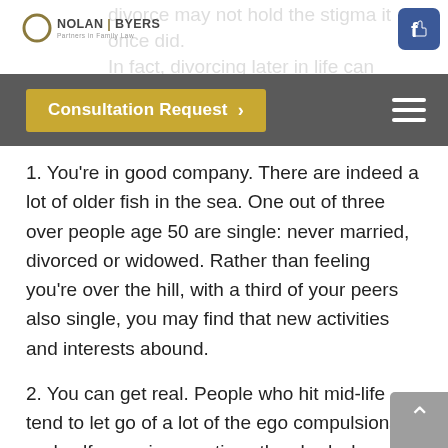divorce may not hold the stigma it once did. In fact, divorcing later in life can yield some significant.
[Figure (logo): Nolan | Byers Partners in Family Law logo with circle emblem]
[Figure (screenshot): Facebook like button icon, blue square with thumbs up]
Consultation Request >
1. You're in good company. There are indeed a lot of older fish in the sea. One out of three over people age 50 are single: never married, divorced or widowed. Rather than feeling you're over the hill, with a third of your peers also single, you may find that new activities and interests abound.
2. You can get real. People who hit mid-life tend to let go of a lot of the ego compulsions and self-conscious motives they had when they were younger. As you age, authentic connections become more valuable. And with age comes perspective. After 50, you're more likely to “not sweat the small stuff,” and know what you really want and need out of life.